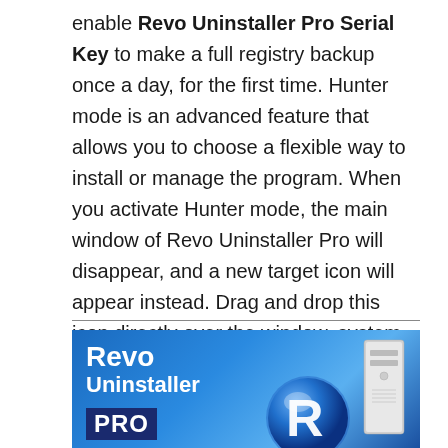enable Revo Uninstaller Pro Serial Key to make a full registry backup once a day, for the first time. Hunter mode is an advanced feature that allows you to choose a flexible way to install or manage the program. When you activate Hunter mode, the main window of Revo Uninstaller Pro will disappear, and a new target icon will appear instead. Drag and drop this icon directly over the window, system tray icon, or desktop icon of the program you want to control.
[Figure (illustration): Revo Uninstaller Pro product banner with blue gradient background, showing 'Revo Uninstaller PRO' text in white, a blue circular logo with letter R, and a silver computer tower graphic.]